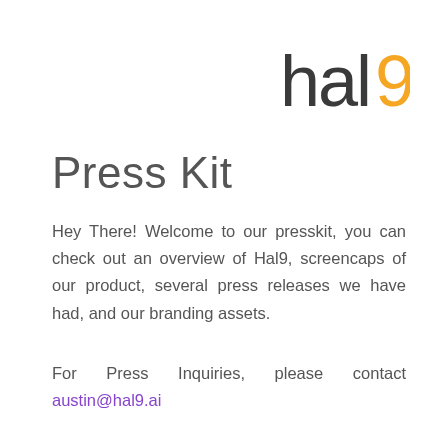[Figure (logo): hal9 logo — the word 'hal' in dark gray with a stylized orange '9' character]
Press Kit
Hey There! Welcome to our presskit, you can check out an overview of Hal9, screencaps of our product, several press releases we have had, and our branding assets.
For Press Inquiries, please contact austin@hal9.ai